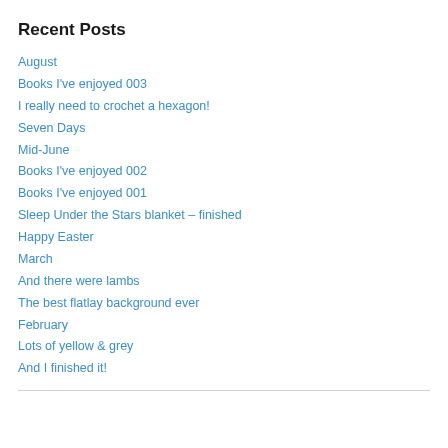Recent Posts
August
Books I've enjoyed 003
I really need to crochet a hexagon!
Seven Days
Mid-June
Books I've enjoyed 002
Books I've enjoyed 001
Sleep Under the Stars blanket – finished
Happy Easter
March
And there were lambs
The best flatlay background ever
February
Lots of yellow & grey
And I finished it!